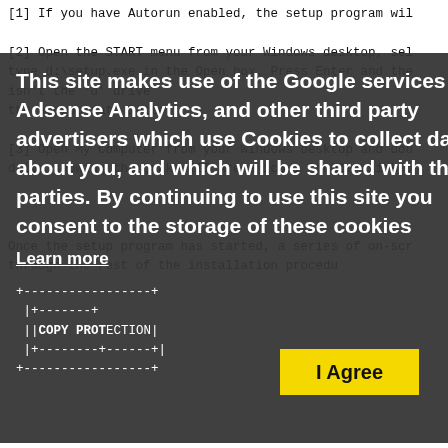[1] If you have Autorun enabled, the setup program wil
[Figure (screenshot): Dark overlay cookie consent dialog with text: 'This site makes use of the Google services Adsense Analytics, and other third party advertisers which use Cookies to collect data about you, and which will be shared with third parties. By continuing to use this site you consent to the storage of these cookies' with 'Learn more' link and 'I Agree' yellow button, overlaid on monospace text body]
To play Quake III Arena in Single Player, you must hav
CD in your CD-ROM drive.  To Play Quake III Arena in M
enter the CD verification string located on the back o
+-----------------+
 |+-------------+|
 ||NEWS & UPDATES||
 |+-------------+|
 +-----------------+